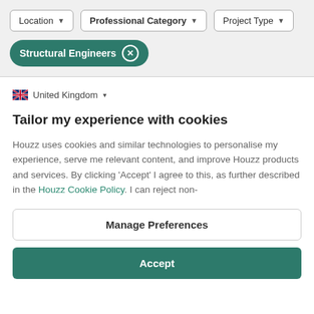[Figure (screenshot): Filter bar with Location, Professional Category, and Project Type dropdown buttons]
[Figure (screenshot): Structural Engineers filter tag pill with close (x) button]
🇬🇧 United Kingdom ▾
Tailor my experience with cookies
Houzz uses cookies and similar technologies to personalise my experience, serve me relevant content, and improve Houzz products and services. By clicking 'Accept' I agree to this, as further described in the Houzz Cookie Policy. I can reject non-
Manage Preferences
Accept